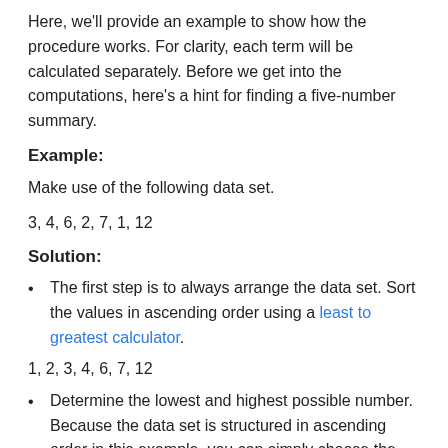Here, we'll provide an example to show how the procedure works. For clarity, each term will be calculated separately. Before we get into the computations, here's a hint for finding a five-number summary.
Example:
Make use of the following data set.
3, 4, 6, 2, 7, 1, 12
Solution:
The first step is to always arrange the data set. Sort the values in ascending order using a least to greatest calculator.
1, 2, 3, 4, 6, 7, 12
Determine the lowest and highest possible number. Because the data set is structured in ascending order in this example, you can simply choose the first number as the lowest and the last value as